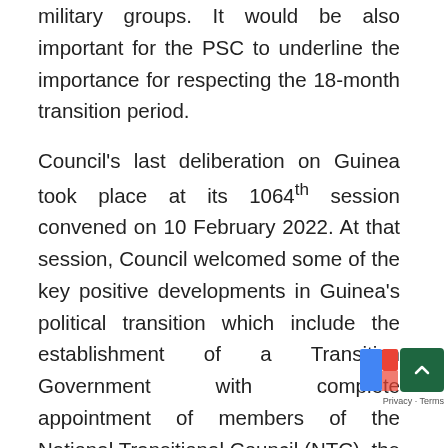military groups. It would be also important for the PSC to underline the importance for respecting the 18-month transition period.
Council's last deliberation on Guinea took place at its 1064th session convened on 10 February 2022. At that session, Council welcomed some of the key positive developments in Guinea's political transition which include the establishment of a Transition Government with complete appointment of members of the National Transitional Council (NTC), the appointment of a